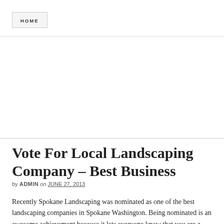HOME
Vote For Local Landscaping Company – Best Business
by ADMIN on JUNE 27, 2013
Recently Spokane Landscaping was nominated as one of the best landscaping companies in Spokane Washington. Being nominated is an awesome achievement because it lets everyone know that you are a company worth hiring. Not all landscapers will come out on top, in fact doing a quick Google search for Spokane landscapers will show that you should only hire companies that